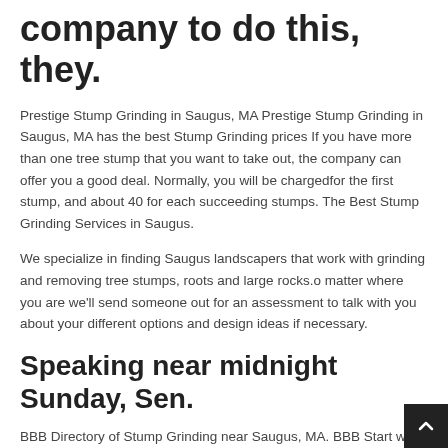company to do this, they.
Prestige Stump Grinding in Saugus, MA Prestige Stump Grinding in Saugus, MA has the best Stump Grinding prices If you have more than one tree stump that you want to take out, the company can offer you a good deal. Normally, you will be chargedfor the first stump, and about 40 for each succeeding stumps. The Best Stump Grinding Services in Saugus.
We specialize in finding Saugus landscapers that work with grinding and removing tree stumps, roots and large rocks.o matter where you are we'll send someone out for an assessment to talk with you about your different options and design ideas if necessary.
Speaking near midnight Sunday, Sen.
BBB Directory of Stump Grinding near Saugus, MA. BBB Start with Trust . Your guide to trusted BBB Ratings, customer revi...